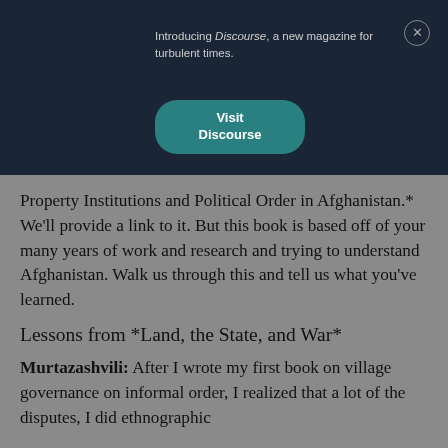Introducing Discourse, a new magazine for turbulent times.
[Figure (other): Visit Discourse button — teal rounded rectangle with white text 'Visit Discourse']
Property Institutions and Political Order in Afghanistan.* We'll provide a link to it. But this book is based off of your many years of work and research and trying to understand Afghanistan. Walk us through this and tell us what you've learned.
Lessons from *Land, the State, and War*
Murtazashvili: After I wrote my first book on village governance on informal order, I realized that a lot of the disputes, I did ethnographic